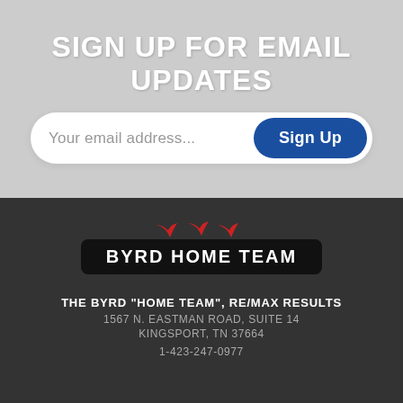SIGN UP FOR EMAIL UPDATES
Your email address...
Sign Up
[Figure (logo): Byrd Home Team logo with red birds silhouette above a black rounded rectangle badge containing the text BYRD HOME TEAM in white bold capital letters]
THE BYRD "HOME TEAM", RE/MAX RESULTS
1567 N. EASTMAN ROAD, SUITE 14
KINGSPORT, TN 37664
1-423-247-0977